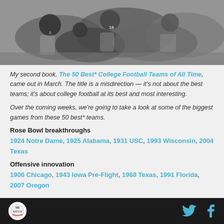[Figure (photo): Black and white photo of football players in a pile/scrum during a game]
My second book, The 50 Best* College Football Teams of All Time, came out in March. The title is a misdirection — it's not about the best teams; it's about college football at its best and most interesting.
Over the coming weeks, we're going to take a look at some of the biggest games from these 50 best* teams.
Rose Bowl breakthroughs
1924 Notre Dame, 1925 Alabama, 1931 USC, 1993 Wisconsin, 2004 Texas
Offensive innovation
1906 Chicago, 1943 Iowa Pre-Flight, 1968 Texas, 1991 Florida, 2007 Oregon
Footer bar with logo and social icons